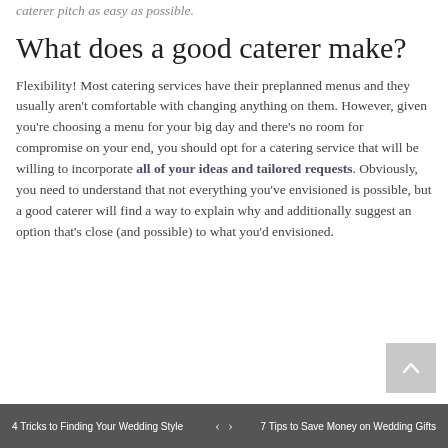caterer pitch as easy as possible.
What does a good caterer make?
Flexibility! Most catering services have their preplanned menus and they usually aren't comfortable with changing anything on them. However, given you're choosing a menu for your big day and there's no room for compromise on your end, you should opt for a catering service that will be willing to incorporate all of your ideas and tailored requests. Obviously, you need to understand that not everything you've envisioned is possible, but a good caterer will find a way to explain why and additionally suggest an option that's close (and possible) to what you'd envisioned.
4 Tricks to Finding Your Wedding Style   <   >   7 Tips to Save Money on Wedding Gifts